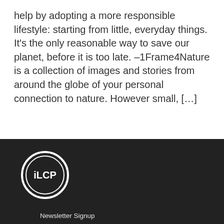help by adopting a more responsible lifestyle: starting from little, everyday things. It's the only reasonable way to save our planet, before it is too late. –1Frame4Nature is a collection of images and stories from around the globe of your personal connection to nature. However small, […]
[Figure (logo): iLCP circular logo with double ring border and 'iLCP' text inside]
Newsletter Signup
Amazon Smile
Sign In
Support Us
[Figure (illustration): Social media icons: Facebook, Instagram, Twitter]
© 2022 ILCP